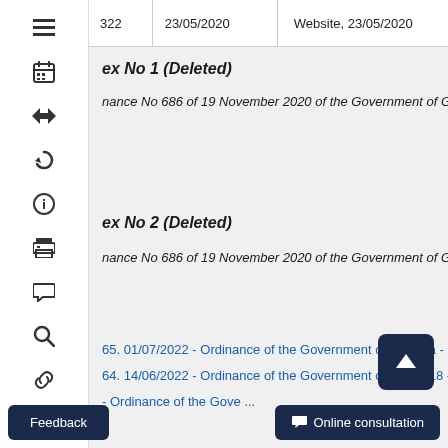| 322 | 23/05/2020 | Website, 23/05/2020 | 470230000.10.0... |
| --- | --- | --- | --- |
ex No 1 (Deleted)
nance No 686 of 19 November 2020 of the Government of Georgi...
ex No 2 (Deleted)
nance No 686 of 19 November 2020 of the Government of Georgi...
65. 01/07/2022 - Ordinance of the Government of Georgia - 342 - ...
64. 14/06/2022 - Ordinance of the Government of Georgia - 318 - ...
- Ordinance of the Government of Georgia...